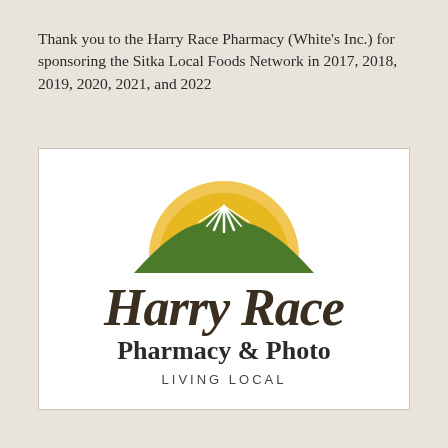Thank you to the Harry Race Pharmacy (White's Inc.) for sponsoring the Sitka Local Foods Network in 2017, 2018, 2019, 2020, 2021, and 2022
[Figure (logo): Harry Race Pharmacy & Photo logo. Features a green mountain with a yellow/gold sunrise arc behind it and white streaks over the peak. Below the mountain graphic is the text 'Harry Race' in large dark brown italic serif font, then 'Pharmacy & Photo' in bold black serif font, and 'LIVING LOCAL' in small spaced uppercase sans-serif letters.]